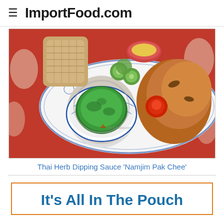ImportFood.com
[Figure (photo): Overhead photo of Thai herb dipping sauce in a blue and white ceramic bowl on a decorative platter, with grilled chicken, sliced cucumbers, tomato rose garnish, and a wicker basket of sticky rice in the background on a red floral plate]
Thai Herb Dipping Sauce 'Namjim Pak Chee'
It's All In The Pouch